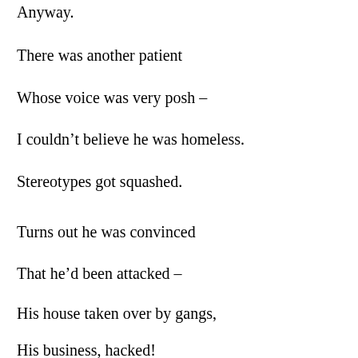Anyway.
There was another patient
Whose voice was very posh –
I couldn't believe he was homeless.
Stereotypes got squashed.
Turns out he was convinced
That he'd been attacked –
His house taken over by gangs,
His business, hacked!
The car became his shelter,